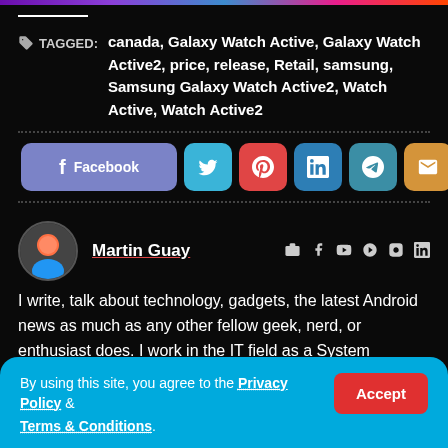TAGGED: canada, Galaxy Watch Active, Galaxy Watch Active2, price, release, Retail, samsung, Samsung Galaxy Watch Active2, Watch Active, Watch Active2
[Figure (screenshot): Social share buttons row: Facebook, Twitter, Pinterest, LinkedIn, Telegram, Email, Link, Print]
Martin Guay — author bio section with social icons
I write, talk about technology, gadgets, the latest Android news as much as any other fellow geek, nerd, or enthusiast does. I work in the IT field as a System Administrator, and I enjoy gaming when possible.
By using this site, you agree to the Privacy Policy & Terms & Conditions.